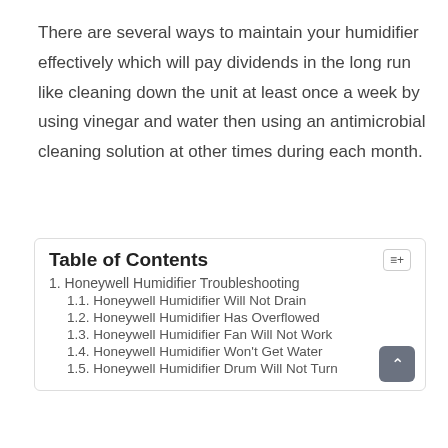There are several ways to maintain your humidifier effectively which will pay dividends in the long run like cleaning down the unit at least once a week by using vinegar and water then using an antimicrobial cleaning solution at other times during each month.
Table of Contents
1. Honeywell Humidifier Troubleshooting
1.1. Honeywell Humidifier Will Not Drain
1.2. Honeywell Humidifier Has Overflowed
1.3. Honeywell Humidifier Fan Will Not Work
1.4. Honeywell Humidifier Won't Get Water
1.5. Honeywell Humidifier Drum Will Not Turn